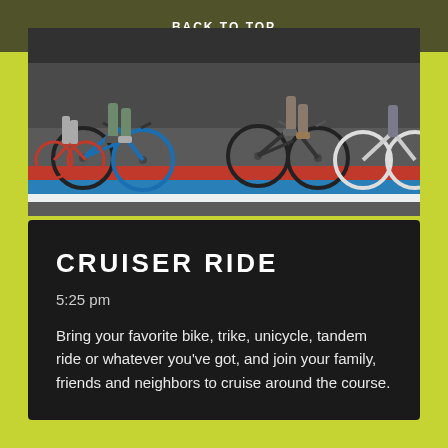BACK TO TOP
[Figure (photo): Cyclists riding bicycles across a colorful road crossing with red, white, and blue stripes. Only the lower bodies and wheels are visible.]
CRUISER RIDE
5:25 pm
Bring your favorite bike, trike, unicycle, tandem ride or whatever you've got, and join your family, friends and neighbors to cruise around the course.